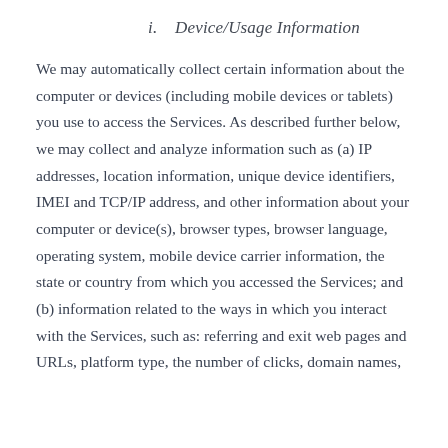i.    Device/Usage Information
We may automatically collect certain information about the computer or devices (including mobile devices or tablets) you use to access the Services. As described further below, we may collect and analyze information such as (a) IP addresses, location information, unique device identifiers, IMEI and TCP/IP address, and other information about your computer or device(s), browser types, browser language, operating system, mobile device carrier information, the state or country from which you accessed the Services; and (b) information related to the ways in which you interact with the Services, such as: referring and exit web pages and URLs, platform type, the number of clicks, domain names,